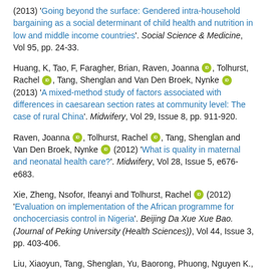(2013) 'Going beyond the surface: Gendered intra-household bargaining as a social determinant of child health and nutrition in low and middle income countries'. Social Science & Medicine, Vol 95, pp. 24-33.
Huang, K, Tao, F, Faragher, Brian, Raven, Joanna [orcid], Tolhurst, Rachel [orcid], Tang, Shenglan and Van Den Broek, Nynke [orcid] (2013) 'A mixed-method study of factors associated with differences in caesarean section rates at community level: The case of rural China'. Midwifery, Vol 29, Issue 8, pp. 911-920.
Raven, Joanna [orcid], Tolhurst, Rachel [orcid], Tang, Shenglan and Van Den Broek, Nynke [orcid] (2012) 'What is quality in maternal and neonatal health care?'. Midwifery, Vol 28, Issue 5, e676-e683.
Xie, Zheng, Nsofor, Ifeanyi and Tolhurst, Rachel [orcid] (2012) 'Evaluation on implementation of the African programme for onchocerciasis control in Nigeria'. Beijing Da Xue Xue Bao. (Journal of Peking University (Health Sciences)), Vol 44, Issue 3, pp. 403-406.
Liu, Xiaoyun, Tang, Shenglan, Yu, Baorong, Phuong, Nguyen K., Yan, Fei, Thien, Duong D. and Tolhurst, Rachel [orcid] (2012) 'Can rural health insurance improve equity in health care utilization?